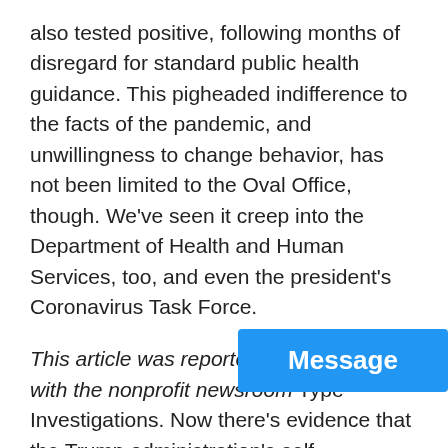also tested positive, following months of disregard for standard public health guidance. This pigheaded indifference to the facts of the pandemic, and unwillingness to change behavior, has not been limited to the Oval Office, though. We've seen it creep into the Department of Health and Human Services, too, and even the president's Coronavirus Task Force.

This article was reported in collaboration with the nonprofit newsroom Type Investigations. Now there's evidence that the Trump administration's self-destructive impulse not to learn about Covid has even taken hold in government labs that are far from the front lines of public health. Last month, scientists at
[Figure (other): Blue 'Message' button overlay in bottom-right corner]